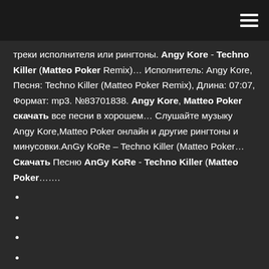треки исполнителя или рингтоны. Angy Kore - Techno Killer (Matteo Poker Remix)… Исполнитель: Angy Kore, Песня: Techno Killer (Matteo Poker Remix), Длина: 07:07, Формат: mp3. №83701838. Angy Kore, Matteo Poker скачать все песни в хорошем… Слушайте музыку Angy Kore,Matteo Poker онлайн и другие рингтоны и минусовки.AnGy KoRe – Techno Killer (Matteo Poker… Скачать Песню AnGy KoRe - Techno Killer (Matteo Poker.......